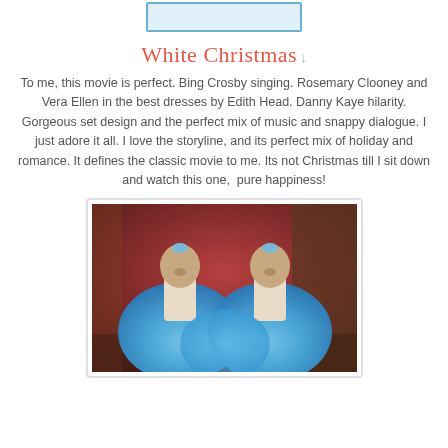[Figure (photo): Partial top view of a movie cover or image — cropped at top, blue border visible]
White Christmas
To me, this movie is perfect. Bing Crosby singing. Rosemary Clooney and Vera Ellen in the best dresses by Edith Head. Danny Kaye hilarity. Gorgeous set design and the perfect mix of music and snappy dialogue. I just adore it all. I love the storyline, and its perfect mix of holiday and romance. It defines the classic movie to me. Its not Christmas till I sit down and watch this one,  pure happiness!
[Figure (photo): Photo from the movie White Christmas showing two men (Bing Crosby and Danny Kaye) in blue feather/fur costumes against a reddish-brown stage background]